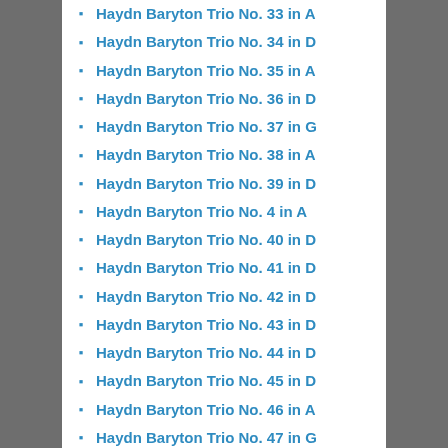Haydn Baryton Trio No. 33 in A
Haydn Baryton Trio No. 34 in D
Haydn Baryton Trio No. 35 in A
Haydn Baryton Trio No. 36 in D
Haydn Baryton Trio No. 37 in G
Haydn Baryton Trio No. 38 in A
Haydn Baryton Trio No. 39 in D
Haydn Baryton Trio No. 4 in A
Haydn Baryton Trio No. 40 in D
Haydn Baryton Trio No. 41 in D
Haydn Baryton Trio No. 42 in D
Haydn Baryton Trio No. 43 in D
Haydn Baryton Trio No. 44 in D
Haydn Baryton Trio No. 45 in D
Haydn Baryton Trio No. 46 in A
Haydn Baryton Trio No. 47 in G
Haydn Baryton Trio No. 48 in D
Haydn Baryton Trio No. 49 in G
Haydn Baryton Trio No. 5 in A
Haydn Baryton Trio No. 50 in D
Haydn Baryton Trio No. 51 in A
Haydn Baryton Trio No. 52 in D